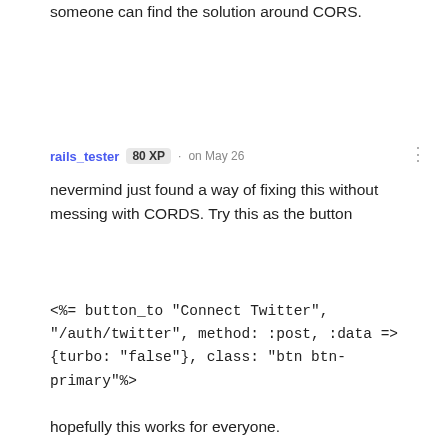someone can find the solution around CORS.
rails_tester  80 XP  · on May 26
nevermind just found a way of fixing this without messing with CORDS. Try this as the button
<%= button_to "Connect Twitter", "/auth/twitter", method: :post, :data => {turbo: "false"}, class: "btn btn-primary"%>
hopefully this works for everyone.